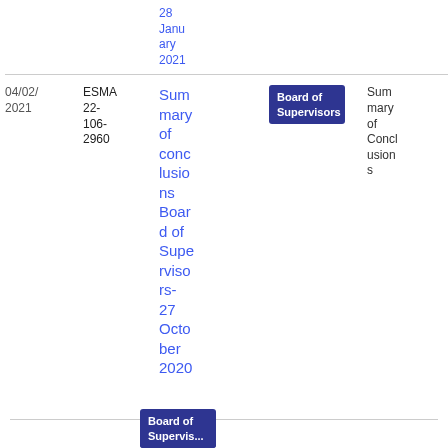| Date | Reference | Title | Committee | Description | Download |
| --- | --- | --- | --- | --- | --- |
|  |  | 28 January 2021 |  |  |  |
| 04/02/2021 | ESMA 22-106-2960 | Summary of conclusions Board of Supervisors- 27 October 2020 | Board of Supervisors | Summary of Conclusions | PDF 3.37 KB 12 |